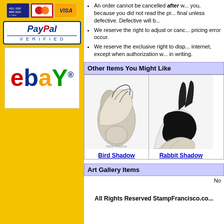[Figure (logo): Credit card logos: Amex, MasterCard, Visa]
[Figure (logo): PayPal Verified logo]
[Figure (logo): eBay logo]
An order cannot be cancelled after w... you, because you did not read the pr... final unless defective. Defective will b...
We reserve the right to adjust or canc... pricing error occur.
We reserve the exclusive right to disp... internet, except when authorization w... in writing.
Other Items You Might Like
[Figure (photo): Hand shadow puppet forming a bird shape]
[Figure (photo): Hand shadow puppet forming a rabbit shape]
Bird Shadow
Rabbit Shadow
Art Gallery Items
No
All Rights Reserved StampFrancisco.co...